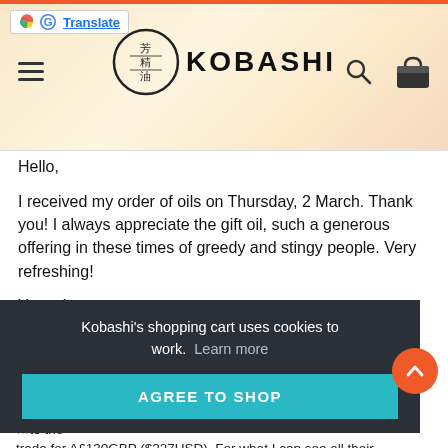KOBASHI
[Figure (logo): Kobashi logo with circular Asian-style emblem and bold text KOBASHI]
Hello,
I received my order of oils on Thursday, 2 March. Thank you! I always appreciate the gift oil, such a generous offering in these times of greedy and stingy people. Very refreshing!
Yours in peace,
Annie Annis
Kobashi's shopping cart uses cookies to work.  Learn more
AGREE TO SHOP
trade for A£130GBP ($227USD). For what I can see all their